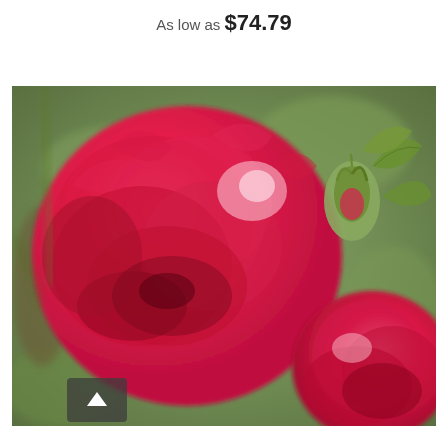As low as  $74.79
[Figure (photo): Close-up photograph of deep pink/red double roses in bloom with green buds and foliage in soft-focus background]